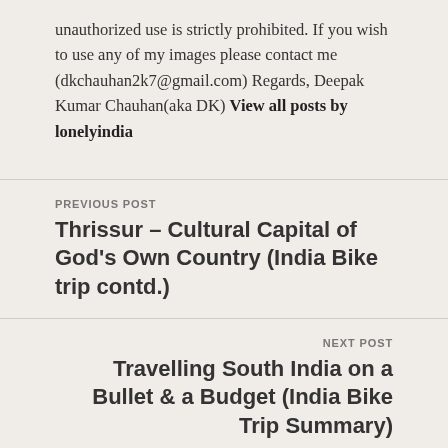unauthorized use is strictly prohibited. If you wish to use any of my images please contact me (dkchauhan2k7@gmail.com) Regards, Deepak Kumar Chauhan(aka DK) View all posts by lonelyindia
PREVIOUS POST
Thrissur – Cultural Capital of God's Own Country (India Bike trip contd.)
NEXT POST
Travelling South India on a Bullet & a Budget (India Bike Trip Summary)